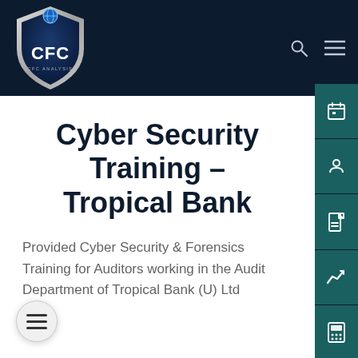[Figure (logo): CFC shield logo with blue globe on top, white CFC text on dark blue background, metallic silver border]
Cyber Security Training – Tropical Bank
Provided Cyber Security & Forensics Training for Auditors working in the Audit Department of Tropical Bank (U) Ltd